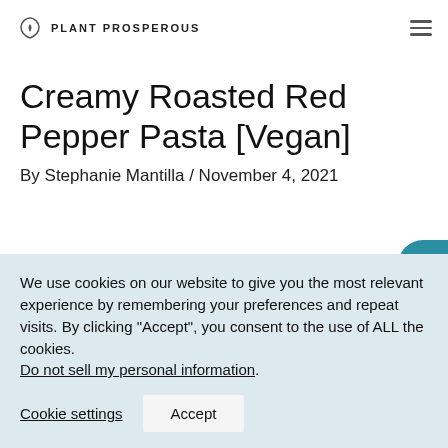PLANT PROSPEROUS
Creamy Roasted Red Pepper Pasta [Vegan]
By Stephanie Mantilla / November 4, 2021
We use cookies on our website to give you the most relevant experience by remembering your preferences and repeat visits. By clicking “Accept”, you consent to the use of ALL the cookies. Do not sell my personal information.
Cookie settings   Accept